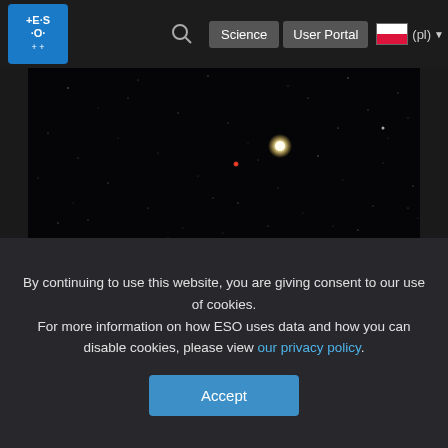[Figure (screenshot): ESO website navigation bar with logo, search icon, Science and User Portal buttons, and Polish flag language selector]
[Figure (photo): Astronomical image showing a dark star field with a bright yellowish-white star in the center-right area and a small red star to its left, with many faint stars scattered across a black background]
By continuing to use this website, you are giving consent to our use of cookies.
For more information on how ESO uses data and how you can disable cookies, please view our privacy policy.
Accept